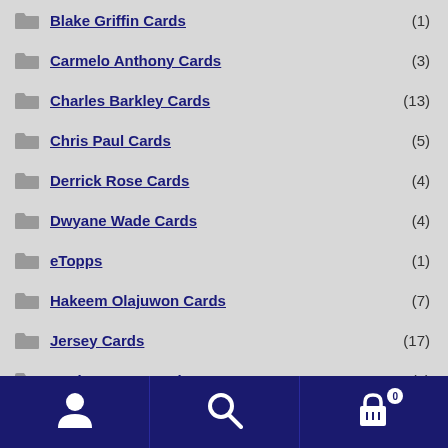Blake Griffin Cards (1)
Carmelo Anthony Cards (3)
Charles Barkley Cards (13)
Chris Paul Cards (5)
Derrick Rose Cards (4)
Dwyane Wade Cards (4)
eTopps (1)
Hakeem Olajuwon Cards (7)
Jersey Cards (17)
Kevin Durant Cards (9)
Kevin Love Cards (2)